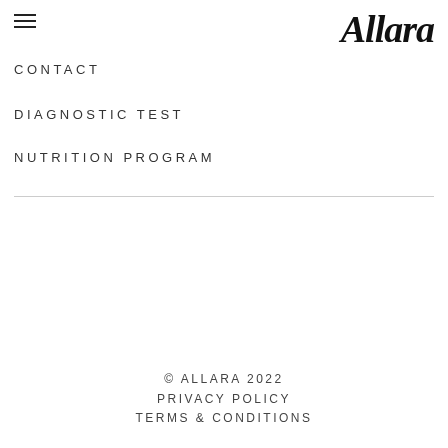Allara
CONTACT
DIAGNOSTIC TEST
NUTRITION PROGRAM
© ALLARA 2022
PRIVACY POLICY
TERMS & CONDITIONS